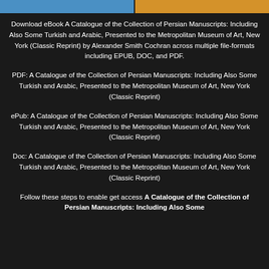[Figure (other): Two colored bars at top: blue on left, orange on right]
Download eBook A Catalogue of the Collection of Persian Manuscripts: Including Also Some Turkish and Arabic, Presented to the Metropolitan Museum of Art, New York (Classic Reprint) by Alexander Smith Cochran across multiple file-formats including EPUB, DOC, and PDF.
PDF: A Catalogue of the Collection of Persian Manuscripts: Including Also Some Turkish and Arabic, Presented to the Metropolitan Museum of Art, New York (Classic Reprint)
ePub: A Catalogue of the Collection of Persian Manuscripts: Including Also Some Turkish and Arabic, Presented to the Metropolitan Museum of Art, New York (Classic Reprint)
Doc: A Catalogue of the Collection of Persian Manuscripts: Including Also Some Turkish and Arabic, Presented to the Metropolitan Museum of Art, New York (Classic Reprint)
Follow these steps to enable get access A Catalogue of the Collection of Persian Manuscripts: Including Also Some